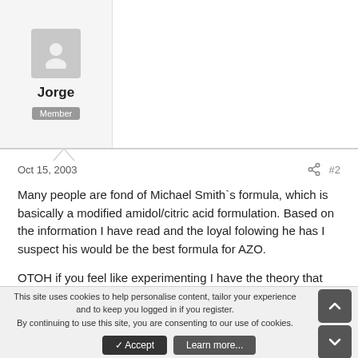Jorge
Member
Oct 15, 2003
#2
Many people are fond of Michael Smith`s formula, which is basically a modified amidol/citric acid formulation. Based on the information I have read and the loyal folowing he has I suspect his would be the best formula for AZO.
OTOH if you feel like experimenting I have the theory that pyrogallol can work just as well and much cheaper than amidol. When pyro is used as a non staining developer for paper it has the same charachteristics as amidol and of course the price is much lower.
This site uses cookies to help personalise content, tailor your experience and to keep you logged in if you register.
By continuing to use this site, you are consenting to our use of cookies.